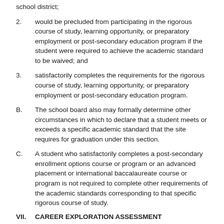school district;
2. would be precluded from participating in the rigorous course of study, learning opportunity, or preparatory employment or post-secondary education program if the student were required to achieve the academic standard to be waived; and
3. satisfactorily completes the requirements for the rigorous course of study, learning opportunity, or preparatory employment or post-secondary education program.
B. The school board also may formally determine other circumstances in which to declare that a student meets or exceeds a specific academic standard that the site requires for graduation under this section.
C. A student who satisfactorily completes a post-secondary enrollment options course or program or an advanced placement or international baccalaureate course or program is not required to complete other requirements of the academic standards corresponding to that specific rigorous course of study.
VII. CAREER EXPLORATION ASSESSMENT
A. Student assessments, in alignment with state academic standards, shall include clearly defined career and college readiness benchmarks and satisfy Minnesota's postsecondary admissions requirements. Achievement and career and college